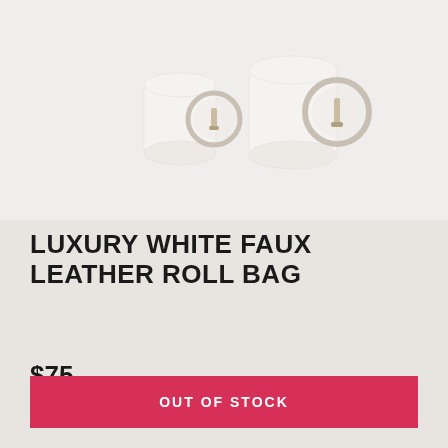[Figure (photo): Two white faux leather roll bags with silver circular clasps/rings on a light background. One bag is smaller (left) and one is larger (right), both cylindrical roll-style bags in white with metallic ring closures.]
LUXURY WHITE FAUX LEATHER ROLL BAG
$75
OUT OF STOCK